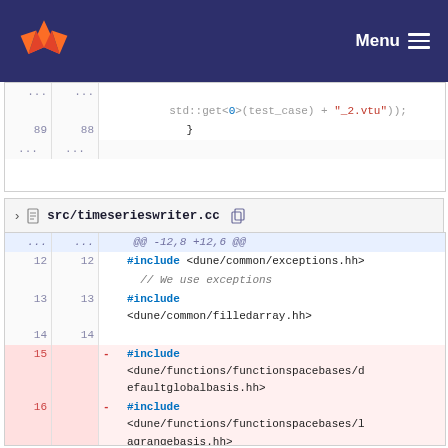GitLab — Menu
[Figure (screenshot): Code diff snippet showing lines 89 and ellipsis, with std::get<0>(test_case) + "_2.vtu")); and closing brace]
src/timeserieswriter.cc
@@ -12,8 +12,6 @@
12 12 #include <dune/common/exceptions.hh>
         // We use exceptions
13 13 #include <dune/common/filledarray.hh>
14 14
15    - #include <dune/functions/functionspacebases/defaultglobalbasis.hh>
16    - #include <dune/functions/functionspacebases/lagrangebasis.hh>
17 15 #include
      <dune/functions/gridfunctions/analyt